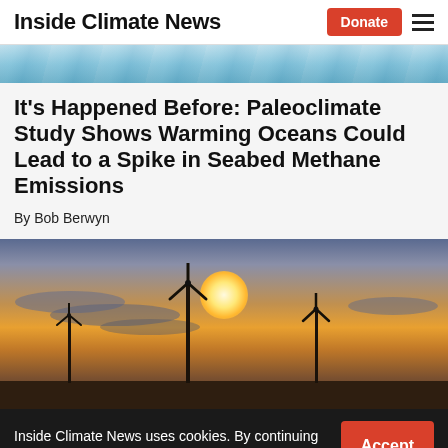Inside Climate News
[Figure (photo): Top cropped image of a frozen/icy surface in blue tones]
It's Happened Before: Paleoclimate Study Shows Warming Oceans Could Lead to a Spike in Seabed Methane Emissions
By Bob Berwyn
[Figure (photo): Wind turbines silhouetted against a dramatic orange and golden sunset sky with clouds]
Inside Climate News uses cookies. By continuing to use this site, you accept this policy. Learn More